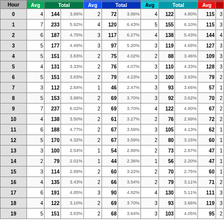| Hour | Avg | Total | % | Avg | Total | % | Avg | Total | % | Avg | Total(partial) |
| --- | --- | --- | --- | --- | --- | --- | --- | --- | --- | --- | --- |
| 0 | 4 | 144 | 3.66% | 2 | 72 | 3.86% | 4 | 122 | 4.80% | 115 | 3 |
| 1 | 7 | 233 | 5.92% | 4 | 120 | 6.43% | 5 | 155 | 6.10% | 115 | 3 |
| 2 | 6 | 187 | 4.75% | 3 | 117 | 6.27% | 4 | 138 | 5.43% | 144 | 4 |
| 3 | 5 | 177 | 4.49% | 3 | 97 | 5.20% | 3 | 119 | 4.68% | 127 | 3 |
| 4 | 5 | 151 | 3.83% | 2 | 75 | 4.02% | 2 | 88 | 3.46% | 109 | 3 |
| 5 | 4 | 131 | 3.33% | 2 | 76 | 4.07% | 3 | 110 | 4.33% | 128 | 3 |
| 6 | 5 | 151 | 3.83% | 2 | 79 | 4.23% | 3 | 100 | 3.93% | 79 | 2 |
| 7 | 3 | 112 | 2.84% | 1 | 46 | 2.47% | 3 | 93 | 3.66% | 57 | 1 |
| 8 | 5 | 153 | 3.88% | 2 | 69 | 3.70% | 3 | 92 | 3.62% | 70 | 2 |
| 9 | 7 | 237 | 6.02% | 2 | 69 | 3.70% | 4 | 122 | 4.80% | 67 | 2 |
| 10 | 4 | 138 | 3.50% | 2 | 61 | 3.27% | 2 | 76 | 2.99% | 72 | 2 |
| 11 | 6 | 188 | 4.77% | 2 | 67 | 3.59% | 3 | 105 | 4.13% | 62 | 1 |
| 12 | 5 | 170 | 4.32% | 2 | 67 | 3.59% | 2 | 80 | 3.15% | 60 | 1 |
| 13 | 3 | 100 | 2.54% | 1 | 54 | 2.89% | 2 | 73 | 2.87% | 47 | 1 |
| 14 | 2 | 79 | 2.01% | 1 | 44 | 2.36% | 1 | 56 | 2.20% | 47 | 1 |
| 15 | 3 | 114 | 2.89% | 2 | 60 | 3.22% | 2 | 70 | 2.75% | 60 | 1 |
| 16 | 4 | 135 | 3.43% | 2 | 66 | 3.54% | 2 | 79 | 3.11% | 71 | 2 |
| 17 | 6 | 191 | 4.85% | 3 | 90 | 4.82% | 4 | 130 | 5.11% | 111 | 3 |
| 18 | 4 | 122 | 3.10% | 2 | 69 | 3.70% | 3 | 93 | 3.66% | 119 | 3 |
| 19 | 5 | 151 | 3.83% | 2 | 68 | 3.64% | 3 | 103 | 4.05% | 95 | 2 |